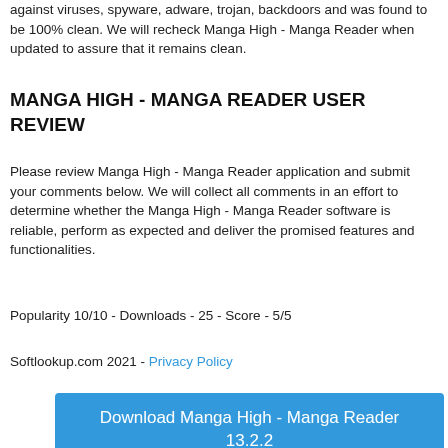against viruses, spyware, adware, trojan, backdoors and was found to be 100% clean. We will recheck Manga High - Manga Reader when updated to assure that it remains clean.
MANGA HIGH - MANGA READER USER REVIEW
Please review Manga High - Manga Reader application and submit your comments below. We will collect all comments in an effort to determine whether the Manga High - Manga Reader software is reliable, perform as expected and deliver the promised features and functionalities.
Popularity 10/10 - Downloads - 25 - Score - 5/5
Softlookup.com 2021 - Privacy Policy
[Figure (other): Blue download button labeled 'Download Manga High - Manga Reader 13.2.2']